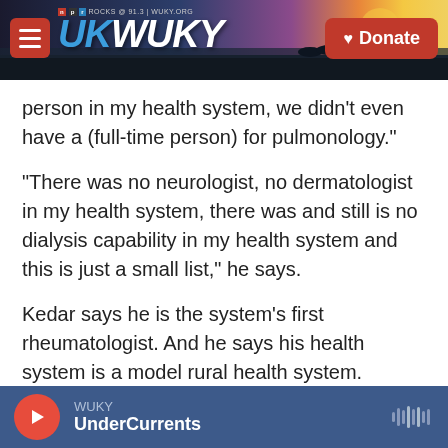WUKY NPR ROCKS @ 91.3 | WUKY.ORG — Donate
person in my health system, we didn't even have a (full-time person) for pulmonology."
"There was no neurologist, no dermatologist in my health system, there was and still is no dialysis capability in my health system and this is just a small list," he says.
Kedar says he is the system's first rheumatologist. And he says his health system is a model rural health system.
"By rural standards, we're pretty good," he says. "If
WUKY — UnderCurrents